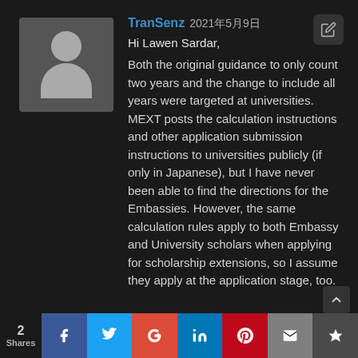[Figure (illustration): Avatar placeholder image: grey square with white silhouette of a person (circle head and rounded body shape)]
TranSenz 2021年5月9日
Hi Lawen Sardar,
Both the original guidance to only count two years and the change to include all years were targeted at universities. MEXT posts the calculation instructions and other application submission instructions to universities publicly (if only in Japanese), but I have never been able to find the directions for the Embassies. However, the same calculation rules apply to both Embassy and University scholars when applying for scholarship extensions, so I assume they apply at the application stage, too.
2 Shares  f  t  G+  in  P  mail  crown